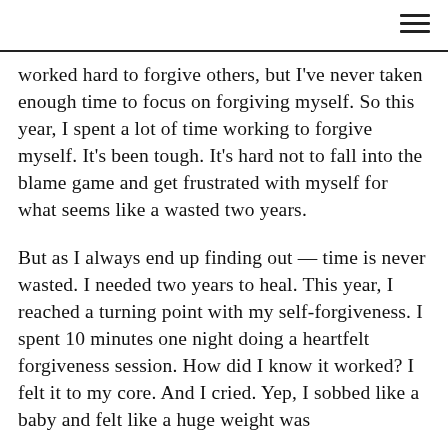worked hard to forgive others, but I've never taken enough time to focus on forgiving myself. So this year, I spent a lot of time working to forgive myself. It's been tough. It's hard not to fall into the blame game and get frustrated with myself for what seems like a wasted two years.
But as I always end up finding out — time is never wasted. I needed two years to heal. This year, I reached a turning point with my self-forgiveness. I spent 10 minutes one night doing a heartfelt forgiveness session. How did I know it worked? I felt it to my core. And I cried. Yep, I sobbed like a baby and felt like a huge weight was